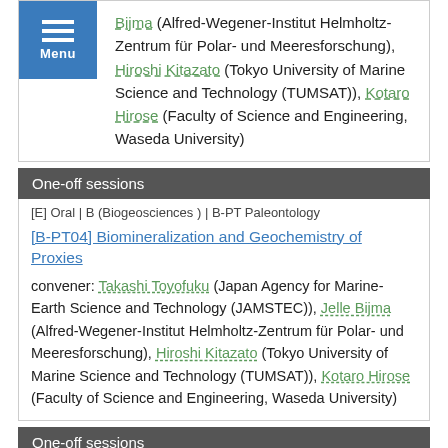Bijma (Alfred-Wegener-Institut Helmholtz-Zentrum für Polar- und Meeresforschung), Hiroshi Kitazato (Tokyo University of Marine Science and Technology (TUMSAT)), Kotaro Hirose (Faculty of Science and Engineering, Waseda University)
One-off sessions
[E] Oral | B (Biogeosciences ) | B-PT Paleontology
[B-PT04] Biomineralization and Geochemistry of Proxies
convener: Takashi Toyofuku (Japan Agency for Marine-Earth Science and Technology (JAMSTEC)), Jelle Bijma (Alfred-Wegener-Institut Helmholtz-Zentrum für Polar- und Meeresforschung), Hiroshi Kitazato (Tokyo University of Marine Science and Technology (TUMSAT)), Kotaro Hirose (Faculty of Science and Engineering, Waseda University)
One-off sessions